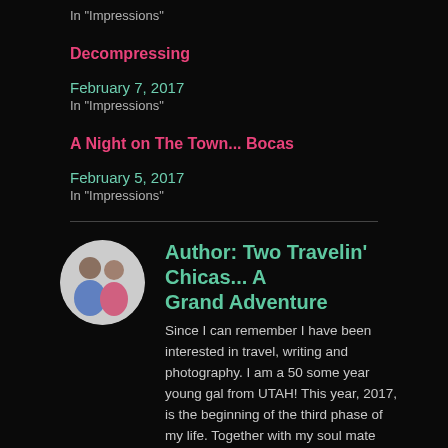In "Impressions"
Decompressing
February 7, 2017
In "Impressions"
A Night on The Town... Bocas
February 5, 2017
In "Impressions"
[Figure (photo): Circular avatar photo of two people]
Author: Two Travelin' Chicas... A Grand Adventure
Since I can remember I have been interested in travel, writing and photography. I am a 50 some year young gal from UTAH! This year, 2017, is the beginning of the third phase of my life. Together with my soul mate Chris Williams and Pembroke Corgi, Gandaulf, we are setting out to travel